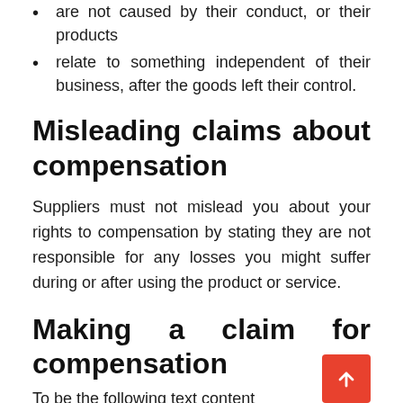are not caused by their conduct, or their products
relate to something independent of their business, after the goods left their control.
Misleading claims about compensation
Suppliers must not mislead you about your rights to compensation by stating they are not responsible for any losses you might suffer during or after using the product or service.
Making a claim for compensation
To be the following text content starts cut off at bottom